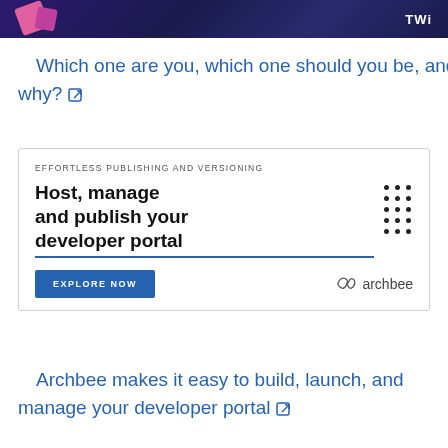[Figure (photo): Partial top image showing dark purple/blue background with pink book/card shapes on left and 'TWi' text in white on right]
Which one are you, which one should you be, and why? ↗
[Figure (other): Archbee advertisement banner: 'EFFORTLESS PUBLISHING AND VERSIONING' subtitle, 'Host, manage and publish your developer portal' headline with dot grid pattern, 'EXPLORE NOW' blue button, and Archbee logo]
Archbee makes it easy to build, launch, and manage your developer portal ↗